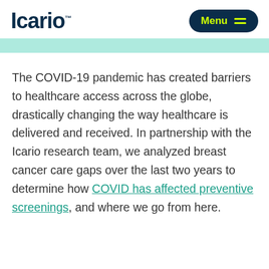Icario | Menu
The COVID-19 pandemic has created barriers to healthcare access across the globe, drastically changing the way healthcare is delivered and received. In partnership with the Icario research team, we analyzed breast cancer care gaps over the last two years to determine how COVID has affected preventive screenings, and where we go from here.